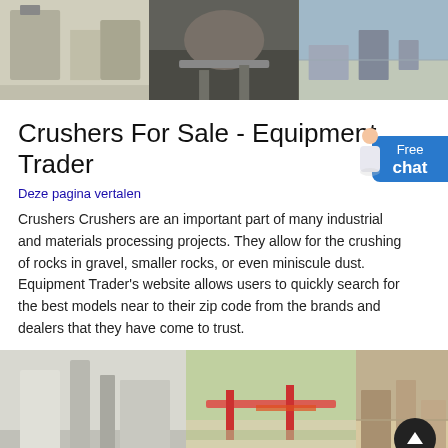[Figure (photo): Three-panel horizontal photo strip showing industrial crushing/mining equipment and facilities at the top of the page]
Crushers For Sale - Equipment Trader
Deze pagina vertalen
Crushers Crushers are an important part of many industrial and materials processing projects. They allow for the crushing of rocks into gravel, smaller rocks, or even miniscule dust. Equipment Trader's website allows users to quickly search for the best models near to their zip code from the brands and dealers that they have come to trust.
[Figure (photo): Three-panel horizontal photo strip showing industrial crushing, mining and processing equipment/facilities at the bottom of the page]